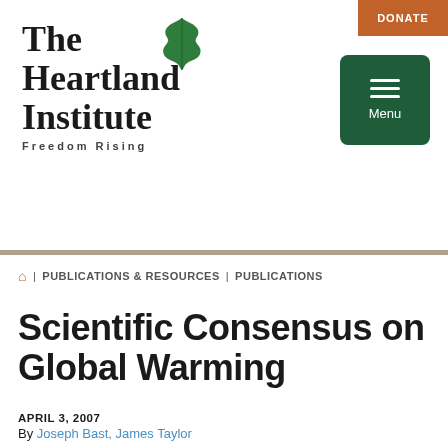[Figure (logo): The Heartland Institute logo with green oak leaf and text 'THE HEARTLAND INSTITUTE FREEDOM RISING']
[Figure (other): Orange DONATE button in top right corner]
[Figure (other): Dark green Menu button with hamburger icon]
🏠 | PUBLICATIONS & RESOURCES | PUBLICATIONS
SCIENTIFIC CONSENSUS ON GLOBAL WARMING
APRIL 3, 2007
By Joseph Bast, James Taylor